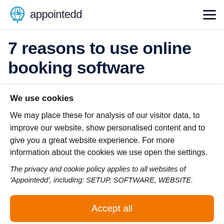appointedd
7 reasons to use online booking software
We use cookies
We may place these for analysis of our visitor data, to improve our website, show personalised content and to give you a great website experience. For more information about the cookies we use open the settings.
The privacy and cookie policy applies to all websites of 'Appointedd', including: SETUP, SOFTWARE, WEBSITE.
Accept all
No, adjust